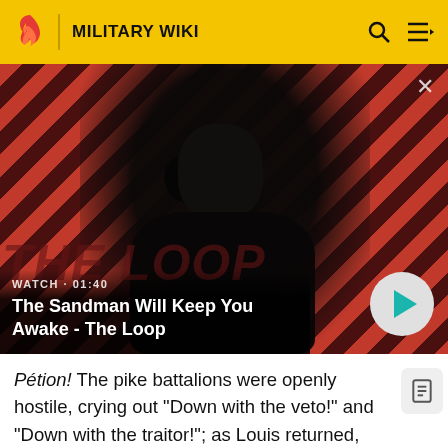MILITARY WIKI
[Figure (screenshot): Video thumbnail showing a dark-clad figure with a raven on their shoulder against a red and dark diagonal striped background. Title reads 'The Sandman Will Keep You Awake - The Loop'. Watch time 01:40. Play button visible.]
Pétion! The pike battalions were openly hostile, crying out "Down with the veto!" and "Down with the traitor!"; as Louis returned, they quit their position, placed themselves near the Pont Royal, and turned their cannon against the château. Two other battalions stationed in the